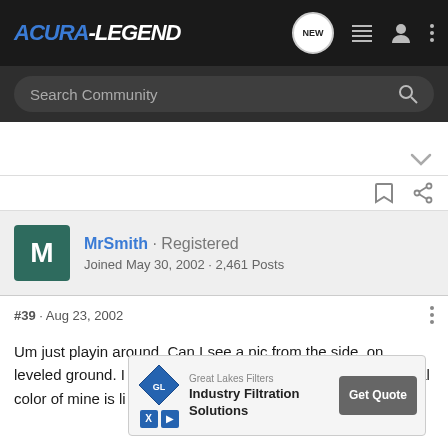[Figure (screenshot): Acura-Legend forum website header with logo and navigation icons]
Search Community
MrSmith · Registered
Joined May 30, 2002 · 2,461 Posts
#39 · Aug 23, 2002
Um just playin around. Can I see a pic from the side, on leveled ground. I just cant get enough of your car . The original color of mine is li... blue.
[Figure (screenshot): Great Lakes Filters advertisement - Industry Filtration Solutions with Get Quote button]